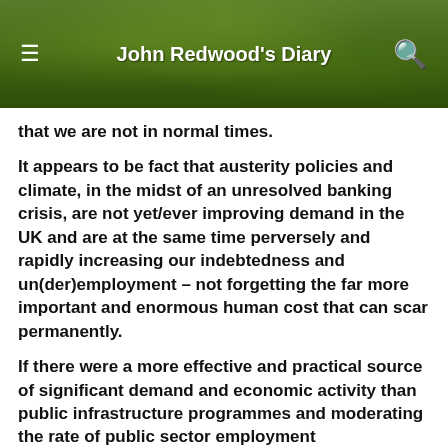John Redwood's Diary
that we are not in normal times.
It appears to be fact that austerity policies and climate, in the midst of an unresolved banking crisis, are not yet/ever improving demand in the UK and are at the same time perversely and rapidly increasing our indebtedness and un(der)employment – not forgetting the far more important and enormous human cost that can scar permanently.
If there were a more effective and practical source of significant demand and economic activity than public infrastructure programmes and moderating the rate of public sector employment restructuring, I don't believe Krugman would be ideologically opposed – I think it's fair to require austerity hawks to produce more than ideology and blind faith to support their bold assertions, in the face of compelling and unprecedented mounting evidence that things are a long way